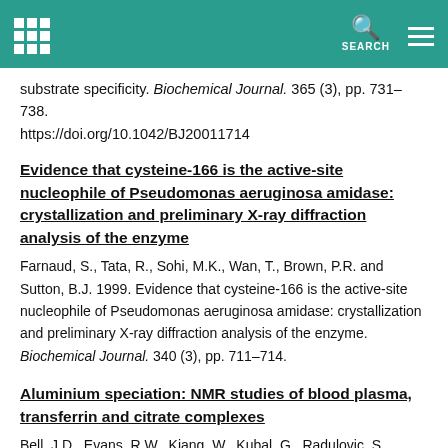[Navigation bar with grid icon, search, and menu]
substrate specificity. Biochemical Journal. 365 (3), pp. 731–738. https://doi.org/10.1042/BJ20011714
Evidence that cysteine-166 is the active-site nucleophile of Pseudomonas aeruginosa amidase: crystallization and preliminary X-ray diffraction analysis of the enzyme
Farnaud, S., Tata, R., Sohi, M.K., Wan, T., Brown, P.R. and Sutton, B.J. 1999. Evidence that cysteine-166 is the active-site nucleophile of Pseudomonas aeruginosa amidase: crystallization and preliminary X-ray diffraction analysis of the enzyme. Biochemical Journal. 340 (3), pp. 711–714.
Aluminium speciation: NMR studies of blood plasma, transferrin and citrate complexes
Bell, J.D., Evans, R.W., Kiang, W., Kubal, G., Radulovic, S., Sadler, P.J. and Williams, G. 1991. Aluminium speciation: NMR studies of blood plasma, transferrin and citrate complexes. Journal of